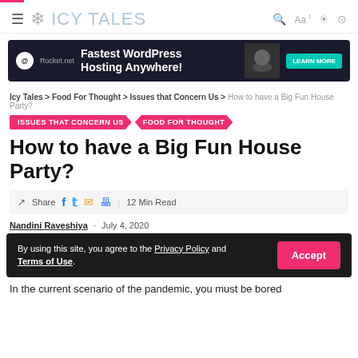ICY TALES
[Figure (other): Rocket.net advertisement banner: Fastest WordPress Hosting Anywhere! with LEARN MORE button]
Icy Tales > Food For Thought > Issues that Concern Us > How to have a Big Fun House Party?
ISSUES THAT CONCERN US / FOOD FOR THOUGHT
How to have a Big Fun House Party?
Share | 12 Min Read
Nandini Raveshiya · July 4, 2020
By using this site, you agree to the Privacy Policy and Terms of Use.
In the current scenario of the pandemic, you must be bored